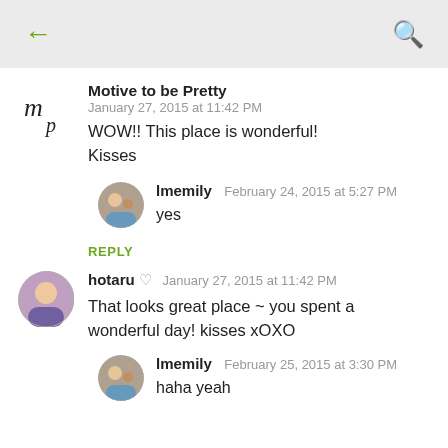← (back) | (search icon)
Motive to be Pretty
January 27, 2015 at 11:42 PM
WOW!! This place is wonderful! Kisses
lmemily  February 24, 2015 at 5:27 PM
yes
REPLY
hotaru ♡  January 27, 2015 at 11:42 PM
That looks great place ~ you spent a wonderful day! kisses xOXO
lmemily  February 25, 2015 at 3:30 PM
haha yeah